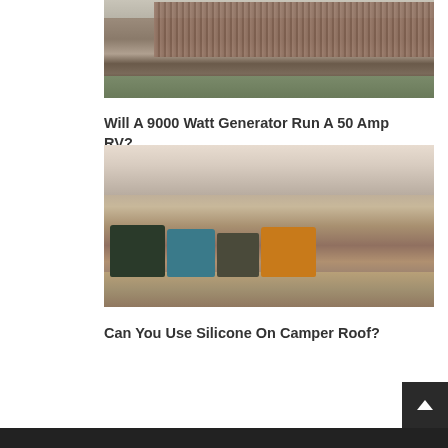[Figure (photo): Aerial or street-level photo of RVs and vehicles parked near a large corrugated metal building with a grass area in the foreground]
Will A 9000 Watt Generator Run A 50 Amp RV?
[Figure (photo): Photo of multiple campervans and off-road vehicles parked on a sandy/rocky landscape near a body of water at dusk, with people sitting around a campfire]
Can You Use Silicone On Camper Roof?